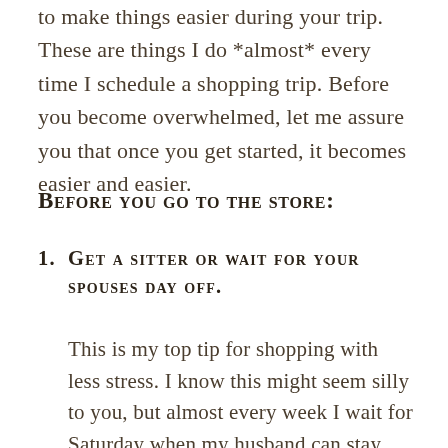to make things easier during your trip. These are things I do *almost* every time I schedule a shopping trip. Before you become overwhelmed, let me assure you that once you get started, it becomes easier and easier.
Before you go to the store:
1. Get a sitter or wait for your spouses day off.
This is my top tip for shopping with less stress. I know this might seem silly to you, but almost every week I wait for Saturday when my husband can stay home with the